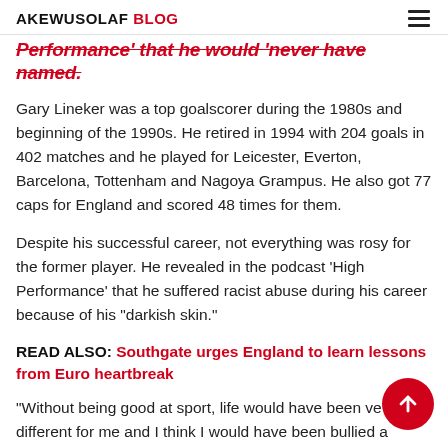AKEWUSOLAF BLOG
Performance' that he would 'never have named.
Gary Lineker was a top goalscorer during the 1980s and beginning of the 1990s. He retired in 1994 with 204 goals in 402 matches and he played for Leicester, Everton, Barcelona, Tottenham and Nagoya Grampus. He also got 77 caps for England and scored 48 times for them.
Despite his successful career, not everything was rosy for the former player. He revealed in the podcast ‘High Performance’ that he suffered racist abuse during his career because of his “darkish skin.”
READ ALSO: Southgate urges England to learn lessons from Euro heartbreak
“Without being good at sport, life would have been very different for me and I think I would have been bullied a…